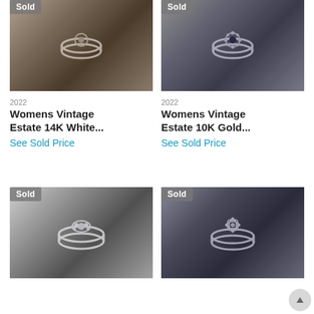[Figure (photo): Photo of a womens vintage estate white gold ring on a dark ring holder, with a 'Sold' badge overlay in the top-left corner]
[Figure (photo): Photo of a womens vintage estate gold ring with dark center stone and floral halo setting on a dark ring holder, with a 'Sold' badge overlay in the top-left corner]
2022
Womens Vintage Estate 14K White...
See Sold Price
2022
Womens Vintage Estate 10K Gold...
See Sold Price
[Figure (photo): Photo of a womens vintage estate diamond cluster ring on a dark ring holder, with a 'Sold' badge overlay in the top-left corner]
[Figure (photo): Photo of a womens vintage estate floral diamond ring on a dark ring holder, with a 'Sold' badge overlay in the top-left corner]